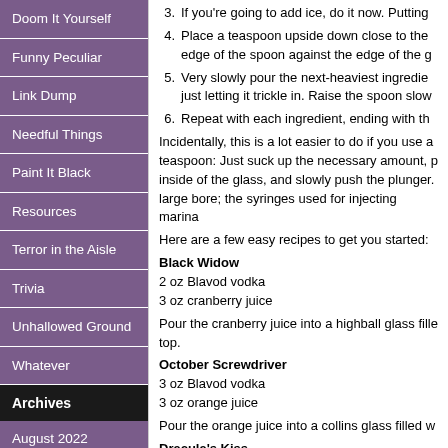Doom It Yourself
Funny Peculiar
Link Dump
Needful Things
Paint It Black
Resources
Terror in the Aisle
Trivia
Unhallowed Ground
Whatever
Archives
August 2022
March 2022
October 2021
August 2021
3. If you're going to add ice, do it now. Putting
4. Place a teaspoon upside down close to the edge of the spoon against the edge of the g
5. Very slowly pour the next-heaviest ingredie just letting it trickle in. Raise the spoon slow
6. Repeat with each ingredient, ending with th
Incidentally, this is a lot easier to do if you use a teaspoon: Just suck up the necessary amount, p inside of the glass, and slowly push the plunger. large bore; the syringes used for injecting marina
Here are a few easy recipes to get you started:
Black Widow
2 oz Blavod vodka
3 oz cranberry juice
Pour the cranberry juice into a highball glass fille top.
October Screwdriver
3 oz Blavod vodka
3 oz orange juice
Pour the orange juice into a collins glass filled w
Dracula's Kiss
1 1/2 oz Blavod vodka
6 oz Bloody Mary mix
Pour the Bloody Mary mix into a highball glass...